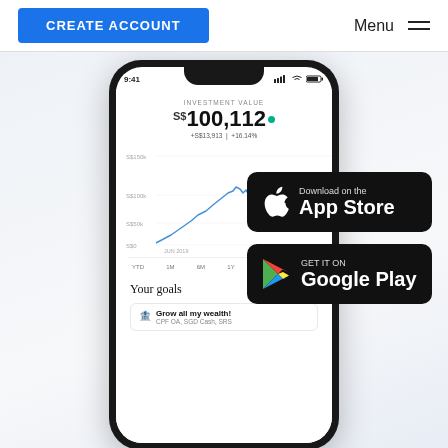[Figure (screenshot): Website header with blue CREATE ACCOUNT button on left and Menu hamburger icon on right]
[Figure (screenshot): Mobile phone mockup showing investment app with INVESTMENT VALUE of S$100,112, +S$13,913 | +16.14%, line chart from JUN 2019 to SEP 2020, time filters YTD 1M 6M 1Y 3Y ALL TIME, and Your goals section with Grow all my wealth goal (CPF OA, SGD Cash, SRS)]
[Figure (screenshot): Download on the App Store badge (black rounded rectangle)]
[Figure (screenshot): GET IT ON Google Play badge (black rounded rectangle)]